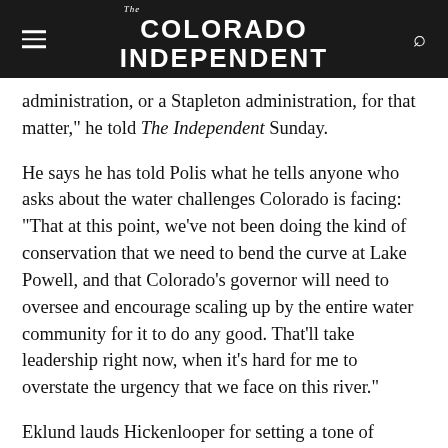The Colorado Independent
administration, or a Stapleton administration, for that matter," he told The Independent Sunday.
He says he has told Polis what he tells anyone who asks about the water challenges Colorado is facing: “That at this point, we’ve not been doing the kind of conservation that we need to bend the curve at Lake Powell, and that Colorado’s governor will need to oversee and encourage scaling up by the entire water community for it to do any good. That’ll take leadership right now, when it’s hard for me to overstate the urgency that we face on this river.”
Eklund lauds Hickenlooper for setting a tone of collaboration not just in Colorado, but with the six